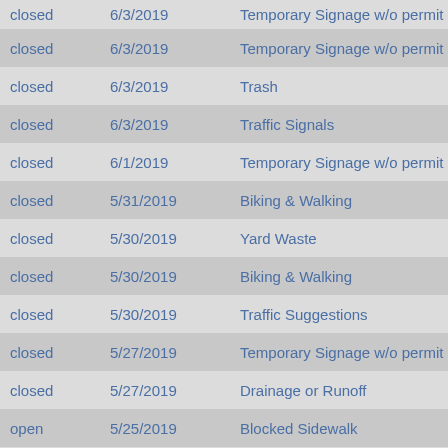| Status | Date | Category |
| --- | --- | --- |
| closed | 6/3/2019 | Temporary Signage w/o permit |
| closed | 6/3/2019 | Temporary Signage w/o permit |
| closed | 6/3/2019 | Trash |
| closed | 6/3/2019 | Traffic Signals |
| closed | 6/1/2019 | Temporary Signage w/o permit |
| closed | 5/31/2019 | Biking & Walking |
| closed | 5/30/2019 | Yard Waste |
| closed | 5/30/2019 | Biking & Walking |
| closed | 5/30/2019 | Traffic Suggestions |
| closed | 5/27/2019 | Temporary Signage w/o permit |
| closed | 5/27/2019 | Drainage or Runoff |
| open | 5/25/2019 | Blocked Sidewalk |
| closed | 5/25/2019 | Sidewalk & Curb Complaints |